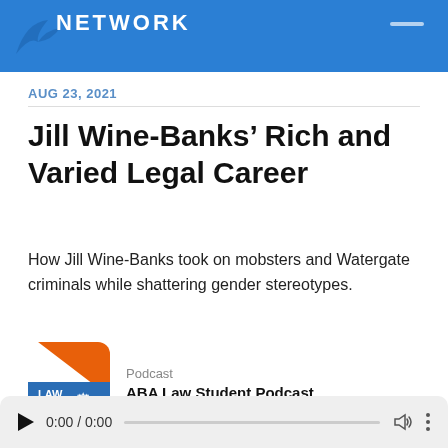NETWORK
AUG 23, 2021
Jill Wine-Banks’ Rich and Varied Legal Career
How Jill Wine-Banks took on mobsters and Watergate criminals while shattering gender stereotypes.
Podcast
ABA Law Student Podcast
[Figure (screenshot): Audio player bar with play button, time 0:00 / 0:00, progress bar, volume icon, and three-dots menu]